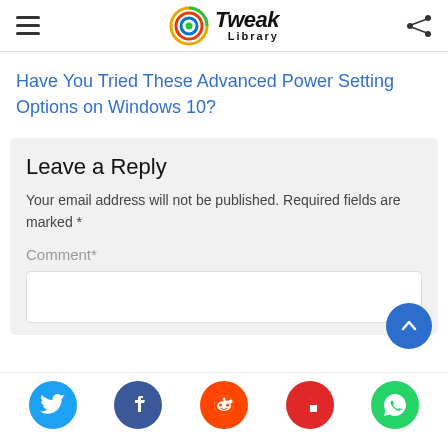Tweak Library
Have You Tried These Advanced Power Setting Options on Windows 10?
Leave a Reply
Your email address will not be published. Required fields are marked *
Comment*
Twitter Facebook Reddit Flipboard WhatsApp